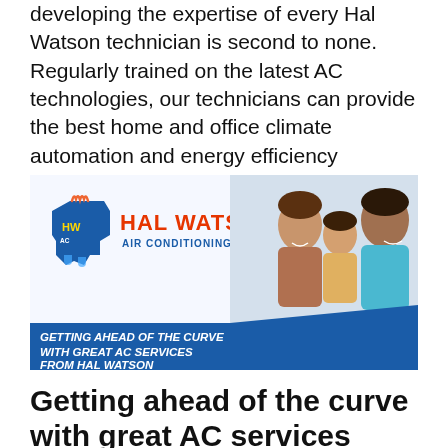developing the expertise of every Hal Watson technician is second to none. Regularly trained on the latest AC technologies, our technicians can provide the best home and office climate automation and energy efficiency solutions in [...]
[Figure (illustration): Hal Watson Air Conditioning Co. advertisement banner showing the company logo (HWAC Texas icon with flames and blue text 'HAL WATSON AIR CONDITIONING CO.' in red/orange), and a photo of a smiling family (mother, daughter, father) on the right side. A blue band at the bottom reads 'GETTING AHEAD OF THE CURVE WITH GREAT AC SERVICES FROM HAL WATSON' in white bold italic text.]
Getting ahead of the curve with great AC services from Hal Watson